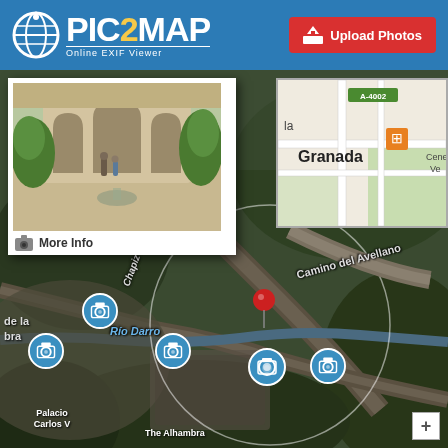[Figure (screenshot): Pic2Map website header with logo showing globe icon and PIC2MAP text with 'Online EXIF Viewer' subtitle, and a red Upload Photos button on the right]
[Figure (map): Satellite aerial map view of Granada, Spain showing the Alhambra area, Río Darro, Camino del Avellano, Chapiz neighborhood. A red location pin is placed on the map with a circular radius indicator. Multiple camera icons show photo locations. A photo popup shows an interior courtyard of what appears to be the Alhambra with arches and trees. A mini street map of Granada is shown in the upper right corner.]